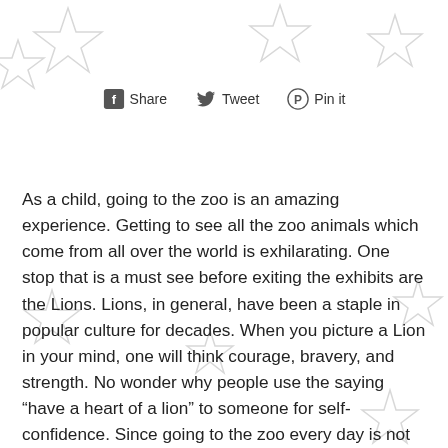[Figure (infographic): Social sharing bar with Facebook Share, Twitter Tweet, and Pinterest Pin it buttons]
As a child, going to the zoo is an amazing experience. Getting to see all the zoo animals which come from all over the world is exhilarating. One stop that is a must see before exiting the exhibits are the Lions. Lions, in general, have been a staple in popular culture for decades. When you picture a Lion in your mind, one will think courage, bravery, and strength. No wonder why people use the saying “have a heart of a lion” to someone for self-confidence. Since going to the zoo every day is not realistic, why not instead take home this giant stuffed animal? Large stuffed animals like this lion pictured above make perfect gifts for kids. These realistic stuffed animals are made of high quality fabrics, which allows this plush toy to be surface washable and easy to clean by your average consumer th